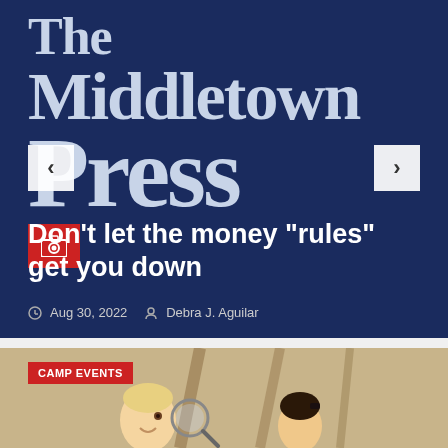[Figure (logo): The Middletown Press newspaper logo on dark navy background]
Don’t let the money “rules” get you down
Aug 30, 2022  Debra J. Aguilar
[Figure (photo): Photo of a toddler with a magnifying glass looking at another person, with CAMP EVENTS label overlay]